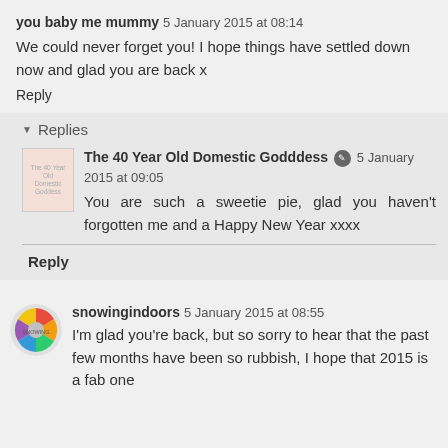you baby me mummy 5 January 2015 at 08:14
We could never forget you! I hope things have settled down now and glad you are back x
Reply
Replies
The 40 Year Old Domestic Godddess 5 January 2015 at 09:05
You are such a sweetie pie, glad you haven't forgotten me and a Happy New Year xxxx
Reply
snowingindoors 5 January 2015 at 08:55
I'm glad you're back, but so sorry to hear that the past few months have been so rubbish, I hope that 2015 is a fab one